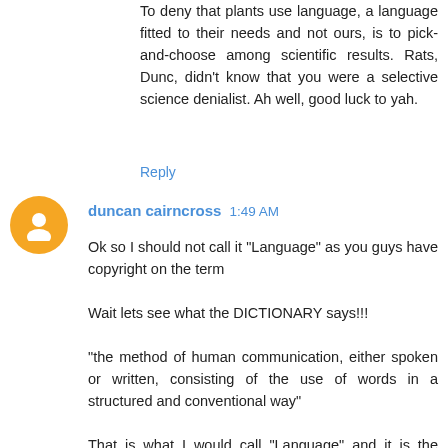To deny that plants use language, a language fitted to their needs and not ours, is to pick-and-choose among scientific results. Rats, Dunc, didn't know that you were a selective science denialist. Ah well, good luck to yah.
Reply
duncan cairncross 1:49 AM
Ok so I should not call it "Language" as you guys have copyright on the term

Wait lets see what the DICTIONARY says!!!

"the method of human communication, either spoken or written, consisting of the use of words in a structured and conventional way"

That is what I would call "Language" and it is the "construct" that enables humans to transfer any information from individual to individual and enables "Cultural Evolution" to take place